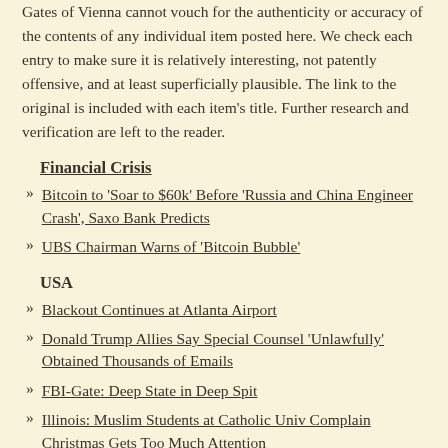Gates of Vienna cannot vouch for the authenticity or accuracy of the contents of any individual item posted here. We check each entry to make sure it is relatively interesting, not patently offensive, and at least superficially plausible. The link to the original is included with each item's title. Further research and verification are left to the reader.
Financial Crisis
Bitcoin to 'Soar to $60k' Before 'Russia and China Engineer Crash', Saxo Bank Predicts
UBS Chairman Warns of 'Bitcoin Bubble'
USA
Blackout Continues at Atlanta Airport
Donald Trump Allies Say Special Counsel 'Unlawfully' Obtained Thousands of Emails
FBI-Gate: Deep State in Deep Spit
Illinois: Muslim Students at Catholic Univ Complain Christmas Gets Too Much Attention
Milo Yiannopoulos on Net Neutrality: 'Soros Funded Groups Are Pushing Lies"
Robert Mueller's Team Accused by Trump Lawyer of Inappropriately Obtaining Thousands of Emails